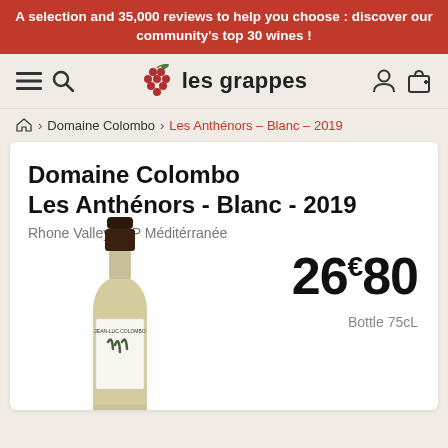A selection and 35,000 reviews to help you choose : discover our community's top 30 wines !
[Figure (logo): Les Grappes website navigation bar with hamburger menu, search icon, grape cluster logo, 'les grappes' text, user account icon, and shopping bag icon]
🏠 > Domaine Colombo > Les Anthénors – Blanc – 2019
Domaine Colombo Les Anthénors - Blanc - 2019
Rhone Valley, IGP Méditérranée
26€80
Bottle 75cL
[Figure (photo): Wine bottle of Domaine Colombo Les Anthénors Blanc 2019 with white label showing Jean-Luc Colombo text and dark green leaf/brush stroke design, dark capsule top]